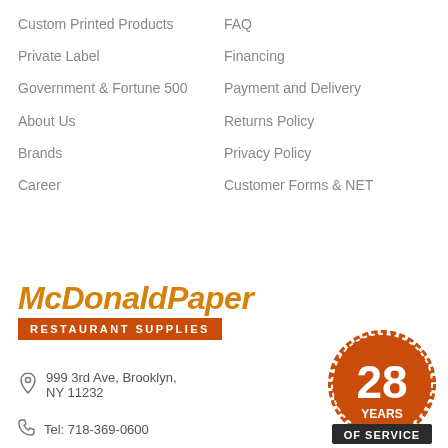Custom Printed Products
FAQ
Private Label
Financing
Government & Fortune 500
Payment and Delivery
About Us
Returns Policy
Brands
Privacy Policy
Career
Customer Forms & NET
[Figure (logo): McDonaldPaper Restaurant Supplies logo with orange italic text and red banner]
999 3rd Ave, Brooklyn, NY 11232
Tel: 718-369-0600
[Figure (infographic): 28 years of service badge in orange and dark grey]